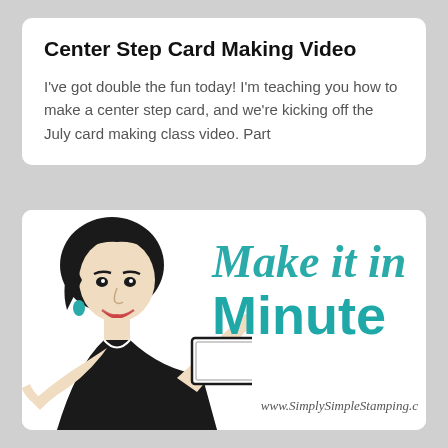Center Step Card Making Video
I've got double the fun today! I'm teaching you how to make a center step card, and we're kicking off the July card making class video. Part
[Figure (illustration): Retro-style banner graphic showing a 1950s housewife illustration holding a card, with the text 'Make it in Minutes' in teal/turquoise lettering, and the website www.SimplySimpleStamping.c shown at the bottom right.]